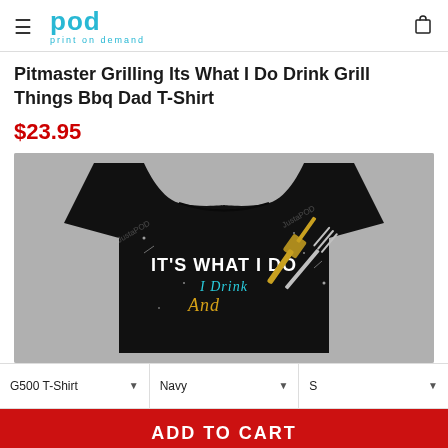pod print on demand
Pitmaster Grilling Its What I Do Drink Grill Things Bbq Dad T-Shirt
$23.95
[Figure (photo): Black t-shirt with white and teal text reading IT'S WHAT I DO I Drink And, with BBQ utensil graphics (spatula and fork), displayed on a gray background with JustaPOD watermarks]
G500 T-Shirt | Navy | S
ADD TO CART